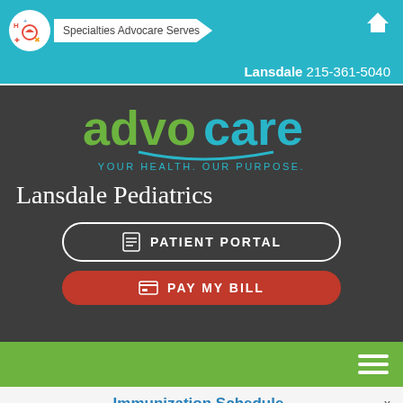Specialties Advocare Serves
Lansdale 215-361-5040
[Figure (logo): Advocare logo with tagline YOUR HEALTH. OUR PURPOSE.]
Lansdale Pediatrics
PATIENT PORTAL
PAY MY BILL
Immunization Schedule
IMPORTANT UPDATE: CORONAVIRUS (COVID-19)